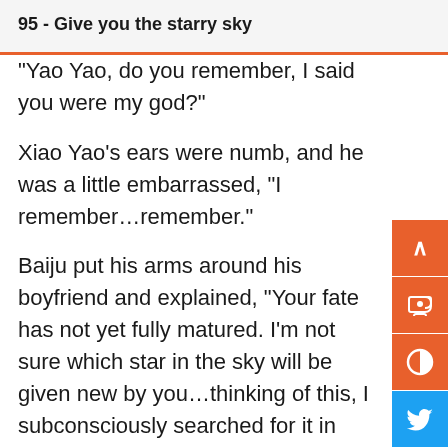95 - Give you the starry sky
"Yao Yao, do you remember, I said you were my god?"
Xiao Yao's ears were numb, and he was a little embarrassed, "I remember…remember."
Baiju put his arms around his boyfriend and explained, "Your fate has not yet fully matured. I'm not sure which star in the sky will be given new by you…thinking of this, I subconsciously searched for it in the sky.
"I want to find the fullest, brightest, and best-looking star, and give it to you, but I don't have the abilit
Baiju said, "So I thought again, then I have to take all